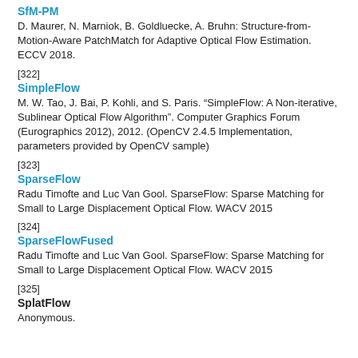SfM-PM
D. Maurer, N. Marniok, B. Goldluecke, A. Bruhn: Structure-from-Motion-Aware PatchMatch for Adaptive Optical Flow Estimation. ECCV 2018.
[322]
SimpleFlow
M. W. Tao, J. Bai, P. Kohli, and S. Paris. "SimpleFlow: A Non-iterative, Sublinear Optical Flow Algorithm". Computer Graphics Forum (Eurographics 2012), 2012. (OpenCV 2.4.5 Implementation, parameters provided by OpenCV sample)
[323]
SparseFlow
Radu Timofte and Luc Van Gool. SparseFlow: Sparse Matching for Small to Large Displacement Optical Flow. WACV 2015
[324]
SparseFlowFused
Radu Timofte and Luc Van Gool. SparseFlow: Sparse Matching for Small to Large Displacement Optical Flow. WACV 2015
[325]
SplatFlow
Anonymous.